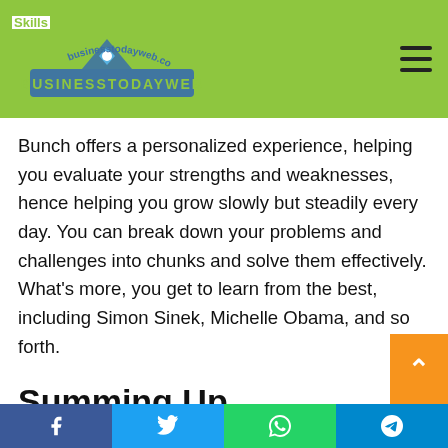BusinessTodayWeb
Bunch offers a personalized experience, helping you evaluate your strengths and weaknesses, hence helping you grow slowly but steadily every day. You can break down your problems and challenges into chunks and solve them effectively. What's more, you get to learn from the best, including Simon Sinek, Michelle Obama, and so forth.
Summing Up
There you have it – five among many excellent, promising startups to grace the business world in 2021. As you know by now, EdTech sits at the helm of the business world, amassing millions of followers, especially during the pandemic.
Facebook | Twitter | WhatsApp | Telegram